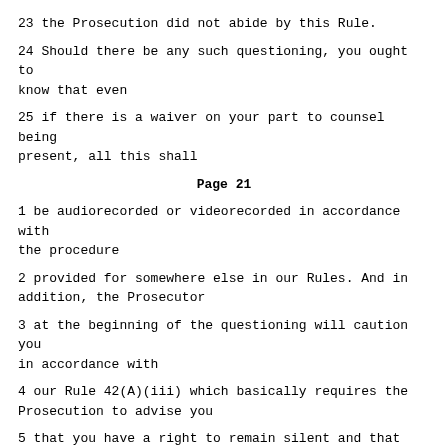23 the Prosecution did not abide by this Rule.
24 Should there be any such questioning, you ought to know that even
25 if there is a waiver on your part to counsel being present, all this shall
Page 21
1 be audiorecorded or videorecorded in accordance with the procedure
2 provided for somewhere else in our Rules. And in addition, the Prosecutor
3 at the beginning of the questioning will caution you in accordance with
4 our Rule 42(A)(iii) which basically requires the Prosecution to advise you
5 that you have a right to remain silent and that any statement that you
6 make shall be recorded and may be used in evidence. That is the first
7 matter that I wanted to touch upon.
8 Provisional release, I have already mentioned. The